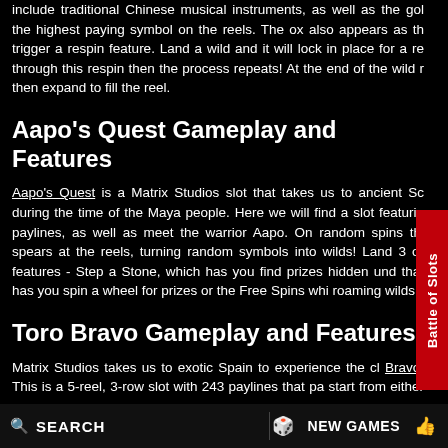include traditional Chinese musical instruments, as well as the gold the highest paying symbol on the reels. The ox also appears as the trigger a respin feature. Land a wild and it will lock in place for a res through this respin then the process repeats! At the end of the wild re then expand to fill the reel.
Aapo's Quest Gameplay and Features
Aapo's Quest is a Matrix Studios slot that takes us to ancient Sc during the time of the Maya people. Here we will find a slot featuring paylines, as well as meet the warrior Aapo. On random spins this spears at the reels, turning random symbols into wilds! Land 3 or s features - Step a Stone, which has you find prizes hidden unde that has you spin a wheel for prizes or the Free Spins whic roaming wilds.
Toro Bravo Gameplay and Features
Matrix Studios takes us to exotic Spain to experience the cla Bravo! This is a 5-reel, 3-row slot with 243 paylines that pay start from either reel 1 or reel 5. Land 3 or more wilds anywhere Premio, which will randomly award you with either 15 free spins with free spins with a 2x or 3x multiplier, 5 free spins with a 2x, 3x or 10x with a 5x, 10x or 50x multiplier. Meanwhile the Matrix Spins feature w manage to get a 4 or more consecutive wins.
SEARCH  NEW GAMES